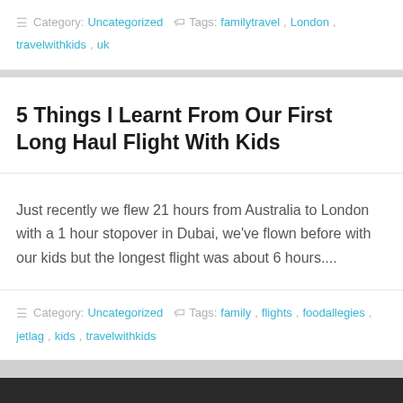Category: Uncategorized  Tags: familytravel, London, travelwithkids, uk
5 Things I Learnt From Our First Long Haul Flight With Kids
Just recently we flew 21 hours from Australia to London with a 1 hour stopover in Dubai, we've flown before with our kids but the longest flight was about 6 hours....
Category: Uncategorized  Tags: family, flights, foodallegies, jetlag, kids, travelwithkids